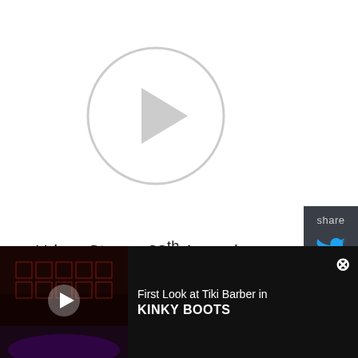[Figure (other): Video player with circular play button on white background]
[Figure (other): Share sidebar with Twitter and Facebook icons on dark background]
Urban Stages 38th Annual Gala took place on Monday, May 23rd, 2022 at the Central Park Boathouse. This year's honorees have all starred on the Urban Stages stage during their careers and includes Tony Award winner Reed Birney will be
[Figure (screenshot): Bottom advertisement bar showing a dark theater scene from Kinky Boots with play button, title 'First Look at Tiki Barber in KINKY BOOTS', and a close button]